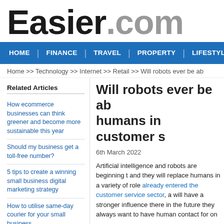Easier.com
HOME | FINANCE | TRAVEL | PROPERTY | LIFESTYLE
Home >> Technology >> Internet >> Retail >> Will robots ever be ab
Related Articles
How ecommerce businesses can think greener and become more sustainable this year
Should my business get a toll-free number?
5 tips to create a winning small business digital marketing strategy
How to utilise same-day courier for your small business
How will artificial intelligence technology affect the world of
Will robots ever be ab humans in customer s
6th March 2022
Artificial intelligence and robots are beginning t and they will replace humans in a variety of role already entered the customer service sector, a will have a stronger influence there in the future they always want to have human contact for on
Chatbots Could Be a Sign of Things to Com